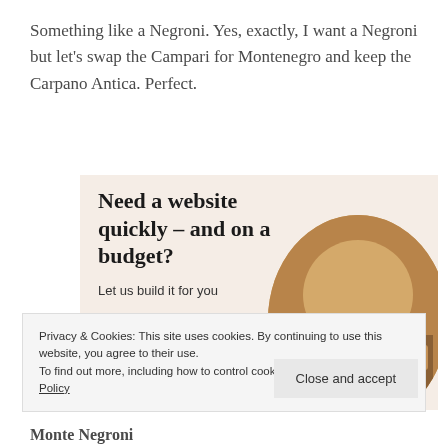Something like a Negroni. Yes, exactly, I want a Negroni but let’s swap the Campari for Montenegro and keep the Carpano Antica. Perfect.
[Figure (infographic): Advertisement banner with beige/cream background. Headline reads 'Need a website quickly – and on a budget?', subtext 'Let us build it for you', a white button 'Let’s get started', and a circular cropped photo of hands typing on a laptop.]
Privacy & Cookies: This site uses cookies. By continuing to use this website, you agree to their use.
To find out more, including how to control cookies, see here: Cookie Policy
Close and accept
Monte Negroni